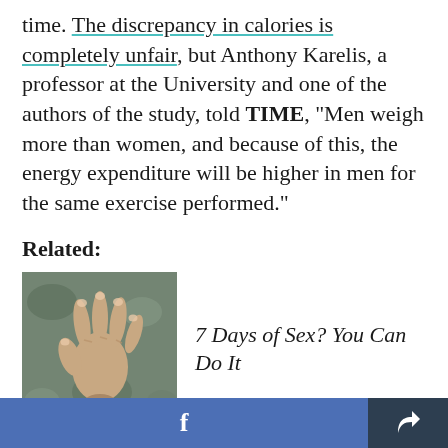time. The discrepancy in calories is completely unfair, but Anthony Karelis, a professor at the University and one of the authors of the study, told TIME, "Men weigh more than women, and because of this, the energy expenditure will be higher in men for the same exercise performed."
Related:
[Figure (photo): A hand emerging from a surface, photographed from above]
7 Days of Sex? You Can Do It
The study was conducted based on the results of a portable mini SenseWear armband to observe how
f  [share icon]